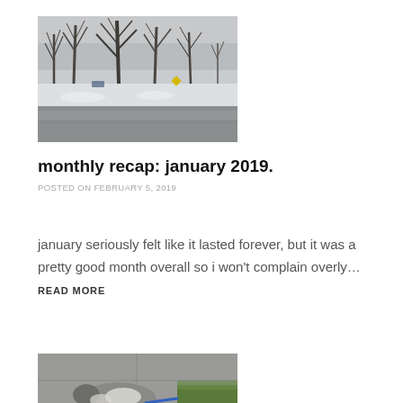[Figure (photo): Winter scene with bare trees, snow-covered ground, and a wet road in the foreground. Overcast sky.]
monthly recap: january 2019.
POSTED ON FEBRUARY 5, 2019
january seriously felt like it lasted forever, but it was a pretty good month overall so i won't complain overly... READ MORE
[Figure (photo): A dog lying on a sidewalk or paved surface outdoors, wearing a blue leash, on green grass area.]